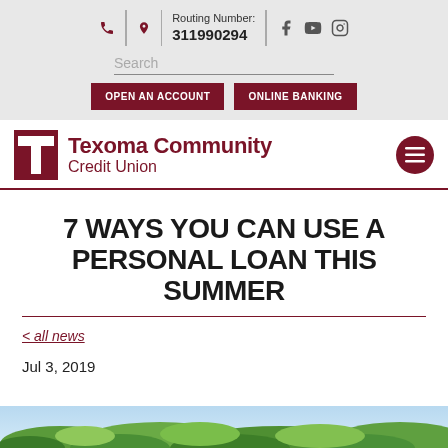Routing Number: 311990294
Search
OPEN AN ACCOUNT | ONLINE BANKING
[Figure (logo): Texoma Community Credit Union logo with star-T icon]
7 WAYS YOU CAN USE A PERSONAL LOAN THIS SUMMER
< all news
Jul 3, 2019
[Figure (photo): Partial photo strip at bottom of page showing green outdoor/nature scene]